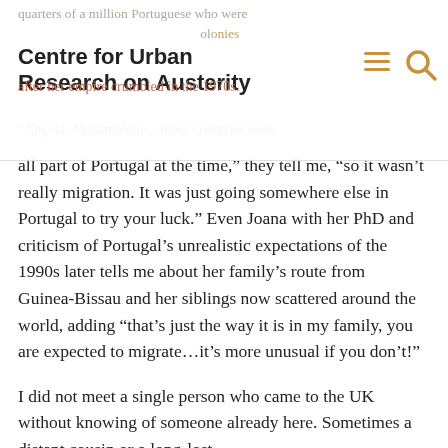quarters of a million Portuguese who were
Centre for Urban Research on Austerity
after her empire crumbled in the 1970s.
“Angola, Mozambique…those countries were all part of Portugal at the time,” they tell me, “so it wasn’t really migration. It was just going somewhere else in Portugal to try your luck.” Even Joana with her PhD and criticism of Portugal’s unrealistic expectations of the 1990s later tells me about her family’s route from Guinea-Bissau and her siblings now scattered around the world, adding “that’s just the way it is in my family, you are expected to migrate…it’s more unusual if you don’t!”
I did not meet a single person who came to the UK without knowing of someone already here. Sometimes a distant cousin or a long-lost